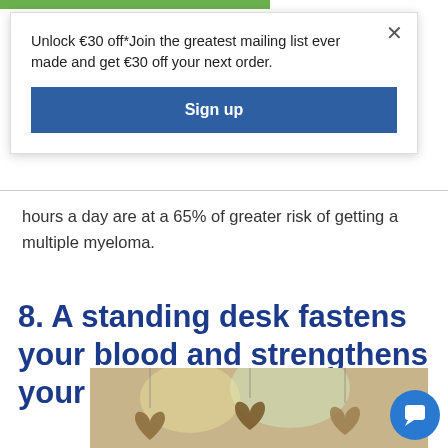Unlock €30 off*Join the greatest mailing list ever made and get €30 off your next order.
Sign up
hours a day are at a 65% of greater risk of getting a multiple myeloma.
8. A standing desk fastens your blood and strengthens your heart
[Figure (photo): Photo of heart-shaped wooden or natural objects hanging, with a blurred colorful background.]